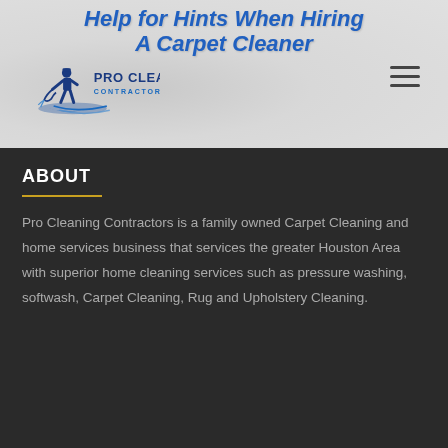Help for Hints When Hiring A Carpet Cleaner
[Figure (logo): Pro Cleaning Contractors logo with a figure of a person using carpet cleaning equipment and blue swoosh design, with text PRO CLEANING CONTRACTORS]
ABOUT
Pro Cleaning Contractors is a family owned Carpet Cleaning and home services business that services the greater Houston Area with superior home cleaning services such as pressure washing, softwash, Carpet Cleaning, Rug and Upholstery Cleaning.